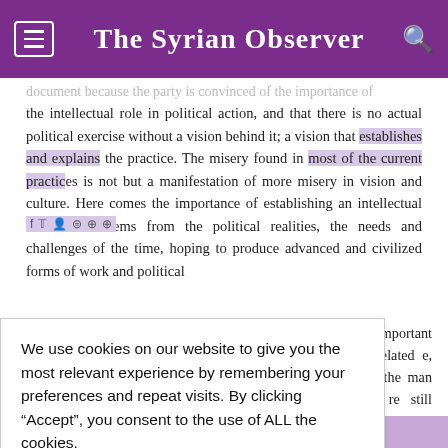The Syrian Observer
document because the party is convinced of the importance of the intellectual role in political action, and that there is no actual political exercise without a vision behind it; a vision that establishes and explains the practice. The misery found in most of the current practices is not but a manifestation of more misery in vision and culture. Here comes the importance of establishing an intellectual vision that stems from the political realities, the needs and challenges of the time, hoping to produce advanced and civilized forms of work and political
We use cookies on our website to give you the most relevant experience by remembering your preferences and repeat visits. By clicking “Accept”, you consent to the use of ALL the cookies.
Do not sell my personal information.
Cookie Settings   Accept
he most important are those related e, the nation, the man rights and re still hazy and known.
Subscribe to our newsletter